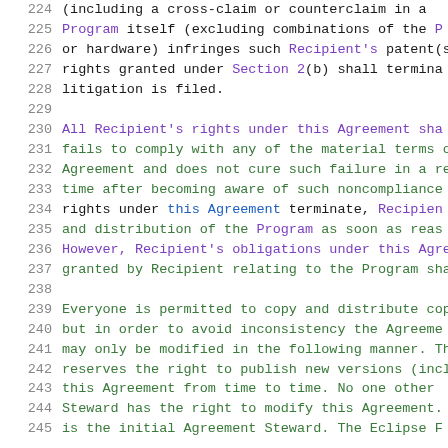224-245: Source code lines from a software license agreement (Eclipse Public License or similar), showing termination clauses and distribution rights for the Program.